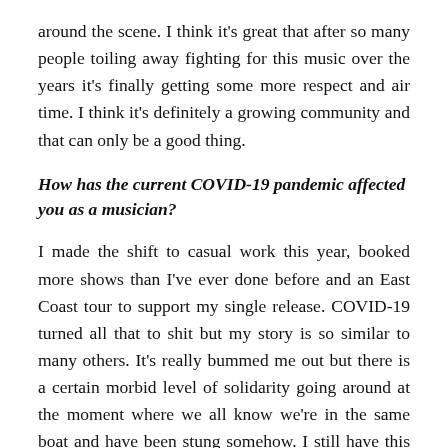around the scene. I think it's great that after so many people toiling away fighting for this music over the years it's finally getting some more respect and air time. I think it's definitely a growing community and that can only be a good thing.
How has the current COVID-19 pandemic affected you as a musician?
I made the shift to casual work this year, booked more shows than I've ever done before and an East Coast tour to support my single release. COVID-19 turned all that to shit but my story is so similar to many others. It's really bummed me out but there is a certain morbid level of solidarity going around at the moment where we all know we're in the same boat and have been stung somehow. I still have this album, I have people willing to listen and the